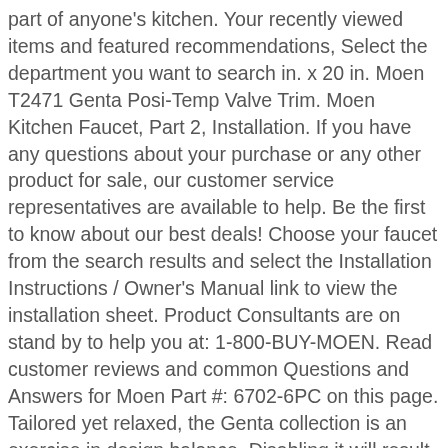part of anyone's kitchen. Your recently viewed items and featured recommendations, Select the department you want to search in. x 20 in. Moen T2471 Genta Posi-Temp Valve Trim. Moen Kitchen Faucet, Part 2, Installation. If you have any questions about your purchase or any other product for sale, our customer service representatives are available to help. Be the first to know about our best deals! Choose your faucet from the search results and select the Installation Instructions / Owner's Manual link to view the installation sheet. Product Consultants are on stand by to help you at: 1-800-BUY-MOEN. Read customer reviews and common Questions and Answers for Moen Part #: 6702-6PC on this page. Tailored yet relaxed, the Genta collection is an exercise in design balance. Disabling it will result in some disabled or missing features. Attractive lines, Easy install and priced right too! Read customer reviews and common Questions and Answers for Moen Part #: 6702BN / 6702BL / 6702 on this page. It is designed with user features, including curved edges and clear temperature indication and mass appeal that are essential in the multi-family